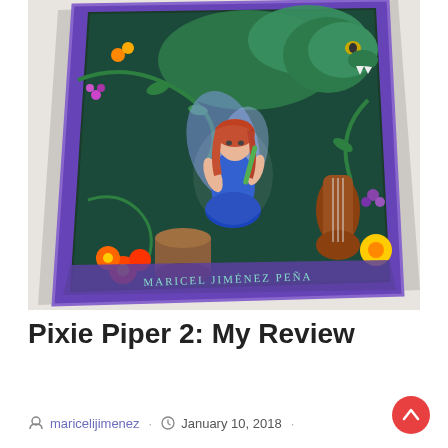[Figure (photo): A photo of a book cover lying on a white surface. The cover has a purple border with a fantasy illustration featuring a fairy girl with red hair holding a green flute, a large green dragon behind her, musical instruments (cello, drum), and colorful flowers. The author name 'MARICEL JIMÉNEZ PEÑA' is shown in decorative text at the bottom of the cover.]
Pixie Piper 2: My Review
maricelijimenez · January 10, 2018 ·